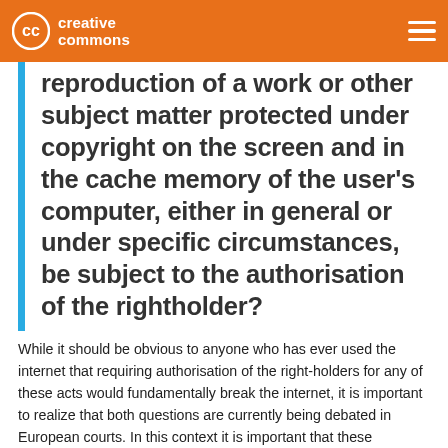creative commons
reproduction of a work or other subject matter protected under copyright on the screen and in the cache memory of the user’s computer, either in general or under specific circumstances, be subject to the authorisation of the rightholder?
While it should be obvious to anyone who has ever used the internet that requiring authorisation of the right-holders for any of these acts would fundamentally break the internet, it is important to realize that both questions are currently being debated in European courts. In this context it is important that these questions are answered with a resounding no, so that it leaves European policy makers no